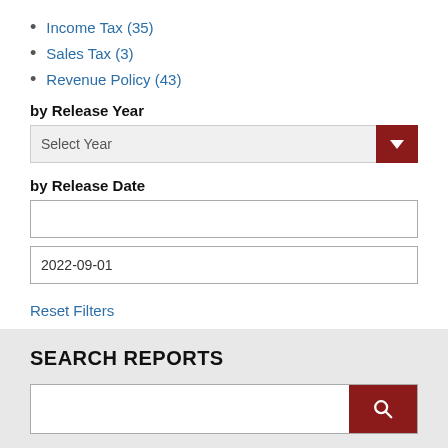Income Tax (35)
Sales Tax (3)
Revenue Policy (43)
by Release Year
Select Year
by Release Date
2022-09-01
Reset Filters
SEARCH REPORTS